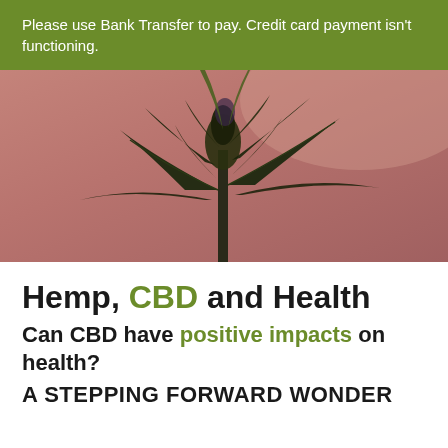Please use Bank Transfer to pay. Credit card payment isn't functioning.
[Figure (photo): Cannabis/hemp plant silhouette against a pink/mauve background, photographed from below looking up, dark leaves and flower buds visible]
Hemp, CBD and Health
Can CBD have positive impacts on health?
A STEPPING FORWARD WONDER